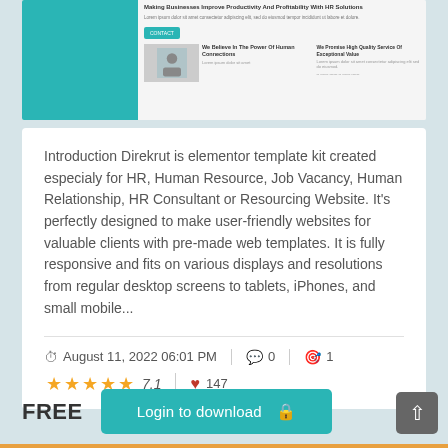[Figure (screenshot): Screenshot of an HR/recruitment website template called Direkrut, showing a teal/green themed layout with text about productivity and human connections.]
Introduction Direkrut is elementor template kit created especialy for HR, Human Resource, Job Vacancy, Human Relationship, HR Consultant or Resourcing Website. It's perfectly designed to make user-friendly websites for valuable clients with pre-made web templates. It is fully responsive and fits on various displays and resolutions from regular desktop screens to tablets, iPhones, and small mobile...
August 11, 2022 06:01 PM   0   1
★★★★★ 7.1   ♥ 147
FREE
Login to download 🔒